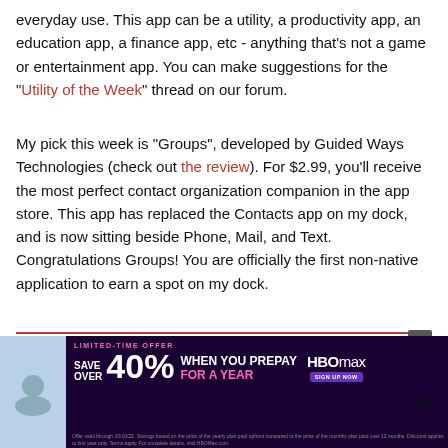everyday use. This app can be a utility, a productivity app, an education app, a finance app, etc - anything that's not a game or entertainment app. You can make suggestions for the "Utility of the Week" thread on our forum.
My pick this week is "Groups", developed by Guided Ways Technologies (check out the review). For $2.99, you'll receive the most perfect contact organization companion in the app store. This app has replaced the Contacts app on my dock, and is now sitting beside Phone, Mail, and Text. Congratulations Groups! You are officially the first non-native application to earn a spot on my dock.
[Figure (screenshot): Advertisement banner for HBO Max: 'Limited-Time Offer - Save Over 40% When You Prepay For A Year' on dark purple background with HBO Max logo and sign up button. Has a close (X) button. Partially visible app icon on the left.]